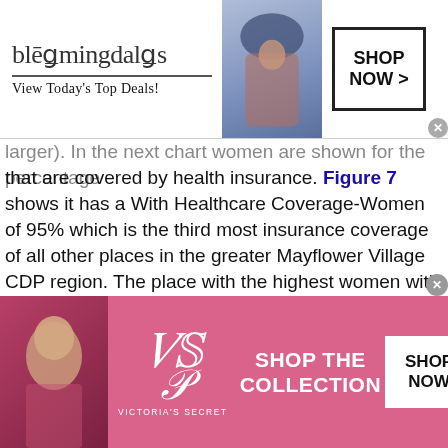[Figure (screenshot): Bloomingdale's advertisement banner: logo, 'View Today's Top Deals!', model photo, 'SHOP NOW >' button]
larger). In the next chart women are shown for the percentage that are covered by health insurance. Figure 7 shows it has a With Healthcare Coverage-Women of 95% which is the third most insurance coverage of all other places in the greater Mayflower Village CDP region. The place with the highest women with health care insurance coverage in the area is Temple City which depicts an insurance coverage of 97% (only slightly larger).
[Figure (screenshot): Victoria's Secret advertisement banner: model photo, VS logo, 'SHOP THE COLLECTION' text, 'SHOP NOW' button]